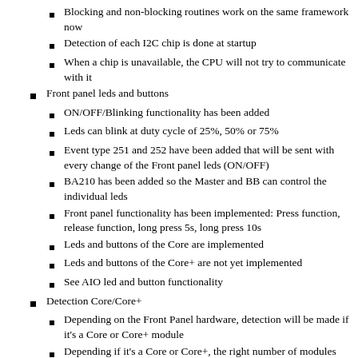Blocking and non-blocking routines work on the same framework now
Detection of each I2C chip is done at startup
When a chip is unavailable, the CPU will not try to communicate with it
Front panel leds and buttons
ON/OFF/Blinking functionality has been added
Leds can blink at duty cycle of 25%, 50% or 75%
Event type 251 and 252 have been added that will be sent with every change of the Front panel leds (ON/OFF)
BA210 has been added so the Master and BB can control the individual leds
Front panel functionality has been implemented: Press function, release function, long press 5s, long press 10s
Leds and buttons of the Core are implemented
Leds and buttons of the Core+ are not yet implemented
See AIO led and button functionality
Detection Core/Core+
Depending on the Front Panel hardware, detection will be made if it's a Core or Core+ module
Depending if it's a Core or Core+, the right number of modules will be assigned.
Eeprom functionality has been modified (Page0/Byte0) so the module type can be forced (disable automatic detection of Core/Core+ which happens through the type of Front panel Hardware)